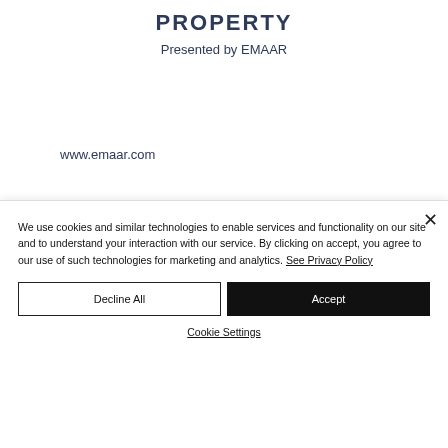PROPERTY
Presented by EMAAR
www.emaar.com
We use cookies and similar technologies to enable services and functionality on our site and to understand your interaction with our service. By clicking on accept, you agree to our use of such technologies for marketing and analytics. See Privacy Policy
Decline All
Accept
Cookie Settings